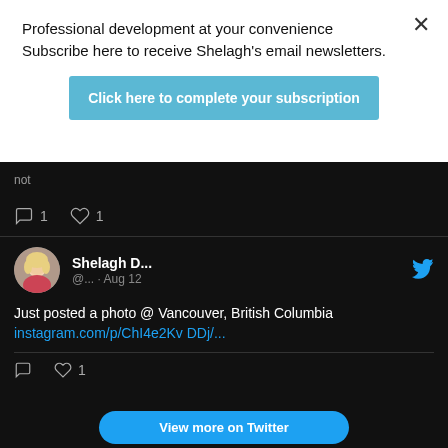Professional development at your convenience Subscribe here to receive Shelagh's email newsletters.
Click here to complete your subscription
[Figure (screenshot): Twitter/X widget showing tweets by Shelagh D. with dark background. Shows comment and like counts (1 each), a tweet from Aug 12 saying 'Just posted a photo @ Vancouver, British Columbia instagram.com/p/ChI4e2KvDDj/...' with 1 like, and a 'View more on Twitter' button.]